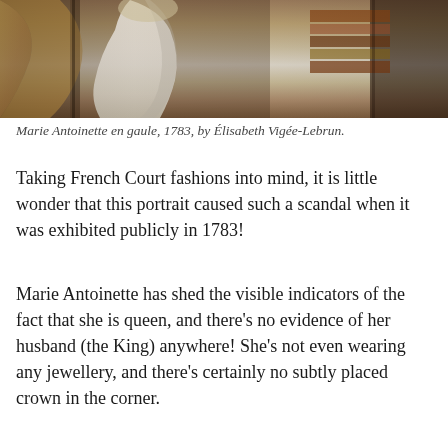[Figure (photo): Painting of Marie Antoinette en gaule by Élisabeth Vigée-Lebrun, 1783. Shows the upper portion of the figure in a white muslin dress against a dark background with drapery and decorative elements.]
Marie Antoinette en gaule, 1783, by Élisabeth Vigée-Lebrun.
Taking French Court fashions into mind, it is little wonder that this portrait caused such a scandal when it was exhibited publicly in 1783!
Marie Antoinette has shed the visible indicators of the fact that she is queen, and there's no evidence of her husband (the King) anywhere! She's not even wearing any jewellery, and there's certainly no subtly placed crown in the corner.